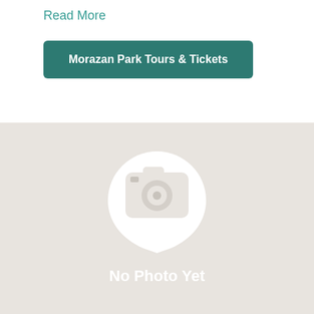Read More
Morazan Park Tours & Tickets
[Figure (illustration): No Photo Yet placeholder with camera icon on a beige/grey background]